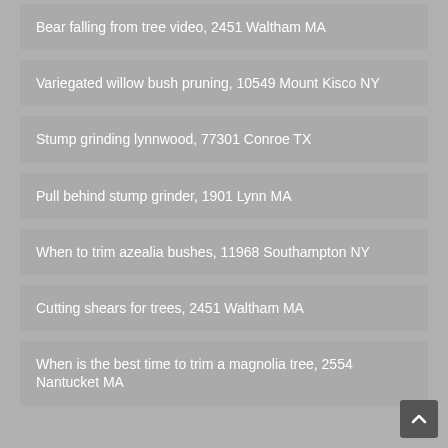Bear falling from tree video, 2451 Waltham MA
Variegated willow bush pruning, 10549 Mount Kisco NY
Stump grinding lynnwood, 77301 Conroe TX
Pull behind stump grinder, 1901 Lynn MA
When to trim azealia bushes, 11968 Southampton NY
Cutting shears for trees, 2451 Waltham MA
When is the best time to trim a magnolia tree, 2554 Nantucket MA